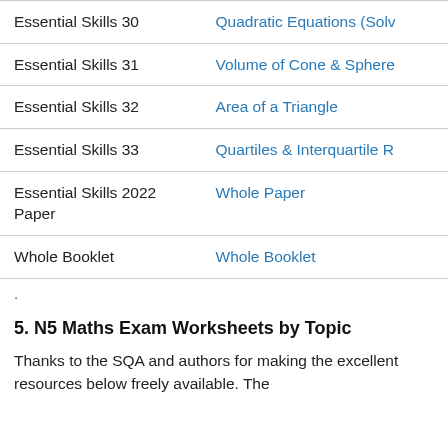| Topic | Link |
| --- | --- |
| Essential Skills 30 | Quadratic Equations (Solv… |
| Essential Skills 31 | Volume of Cone & Sphere… |
| Essential Skills 32 | Area of a Triangle |
| Essential Skills 33 | Quartiles & Interquartile R… |
| Essential Skills 2022 Paper | Whole Paper |
| Whole Booklet | Whole Booklet |
.
5. N5 Maths Exam Worksheets by Topic
Thanks to the SQA and authors for making the excellent resources below freely available. The